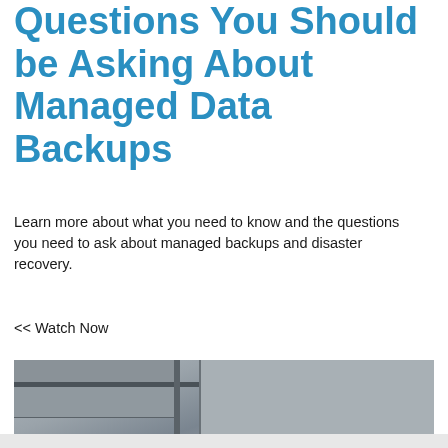Questions You Should be Asking About Managed Data Backups
Learn more about what you need to know and the questions you need to ask about managed backups and disaster recovery.
<< Watch Now
[Figure (photo): Photo of server rack hardware, showing metal panel frames and cabinet structure in grey tones]